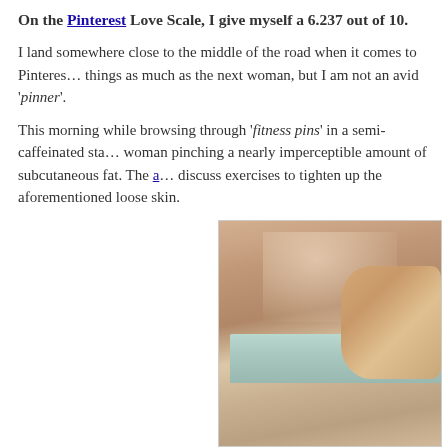On the Pinterest Love Scale, I give myself a 6.237 out of 10.
I land somewhere close to the middle of the road when it comes to Pinterest. I like things as much as the next woman, but I am not an avid 'pinner'.
This morning while browsing through 'fitness pins' in a semi-caffeinated state, I saw a woman pinching a nearly imperceptible amount of subcutaneous fat. The a[rticle went on to] discuss exercises to tighten up the aforementioned loose skin.
[Figure (photo): A woman in light blue underwear pinching a small amount of skin/fat at her waist/hip area, photographed from the side against a white background.]